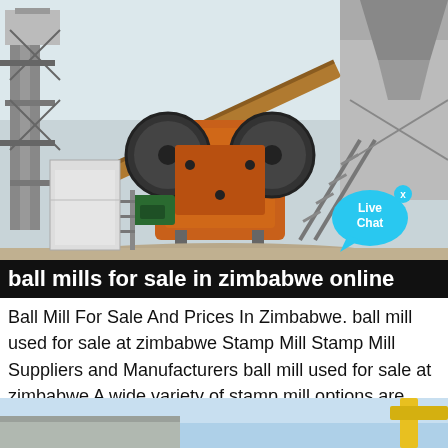[Figure (photo): Outdoor industrial mining/grinding machinery, including a large orange jaw crusher with large flywheels, conveyor belts, metal structures, and a hopper/bin, set in a dusty industrial yard. A 'Live Chat' speech bubble overlay is in the lower-right corner.]
ball mills for sale in zimbabwe online
Ball Mill For Sale And Prices In Zimbabwe. ball mill used for sale at zimbabwe Stamp Mill Stamp Mill Suppliers and Manufacturers ball mill used for sale at zimbabwe A wide variety of stamp mill options are available to you such as ball mill Gold Ore Grinding Mill Wet Pan MillGold Stamp Mill used in South African. Learn More
[Figure (photo): Partial view of an industrial construction scene with blue sky, yellow crane or machinery arm visible at the right edge, and a concrete or metal building structure.]